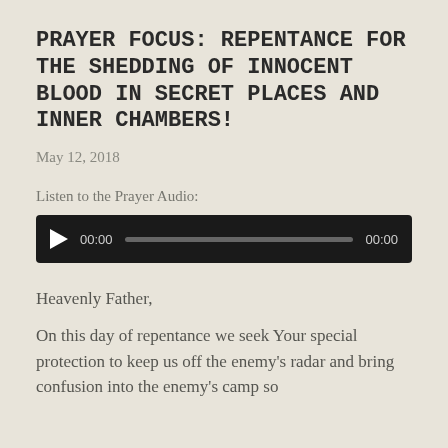PRAYER FOCUS: REPENTANCE FOR THE SHEDDING OF INNOCENT BLOOD IN SECRET PLACES AND INNER CHAMBERS!
May 12, 2018
Listen to the Prayer Audio:
[Figure (other): Audio player widget with dark background, play button triangle, time counter showing 00:00, progress bar, and end time 00:00]
Heavenly Father,
On this day of repentance we seek Your special protection to keep us off the enemy's radar and bring confusion into the enemy's camp so